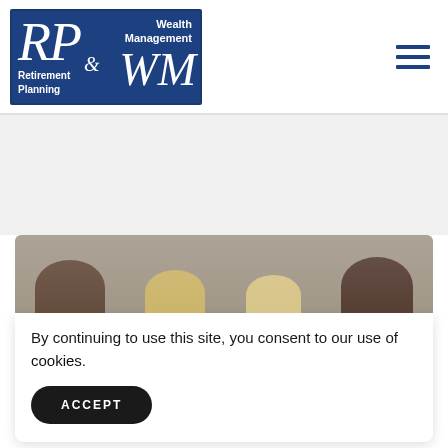[Figure (logo): RP & WM Retirement Planning & Wealth Management logo — dark blue rectangle with white italic script letters RP and WM, with 'Wealth Management' and 'Retirement Planning' text]
[Figure (illustration): Hamburger menu icon — three horizontal dark blue lines]
[Figure (photo): Partial photo of people's heads/hair in a meeting or consultation setting, visible through a rounded-corner frame]
By continuing to use this site, you consent to our use of cookies.
ACCEPT